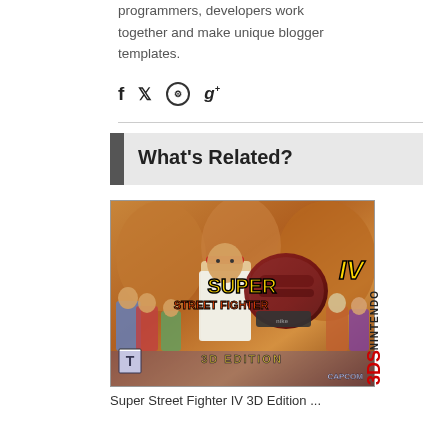programmers, developers work together and make unique blogger templates.
[Figure (other): Social media icons: Facebook (f), Twitter, Dribbble, Google+ (g+)]
What's Related?
[Figure (photo): Super Street Fighter IV 3D Edition Nintendo 3DS game box art showing Ryu with fist extended and multiple characters in the background, with CAPCOM logo and ESRB rating T]
Super Street Fighter IV 3D Edition ...